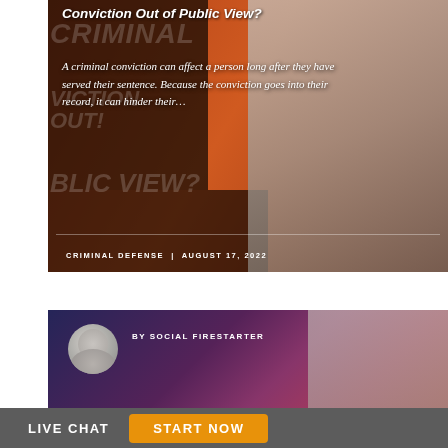[Figure (photo): Article card with orange/dark background showing text overlay 'Conviction Out of Public View?' with a woman smiling in the background]
Conviction Out of Public View?
A criminal conviction can affect a person long after they have served their sentence. Because the conviction goes into their record, it can hinder their…
CRIMINAL DEFENSE | AUGUST 17, 2022
[Figure (photo): Second article card with dark purple/pink gradient background showing avatar icon and 'BY SOCIAL FIRESTARTER' text]
BY SOCIAL FIRESTARTER
LIVE CHAT
START NOW